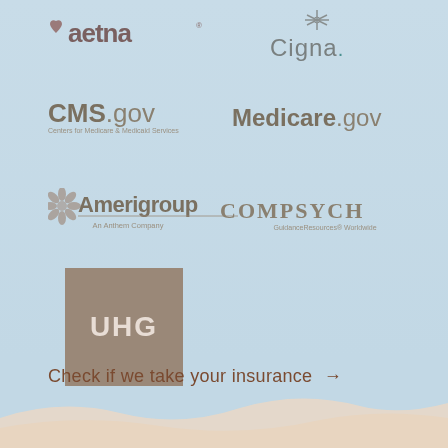[Figure (logo): Aetna logo with heart icon and bold text]
[Figure (logo): Cigna logo with decorative icon and brand text]
[Figure (logo): CMS.gov logo with Centers for Medicare & Medicaid Services subtitle]
[Figure (logo): Medicare.gov logo in bold and light text]
[Figure (logo): Amerigroup logo with flower icon and An Anthem Company subtitle]
[Figure (logo): ComPsych GuidanceResources Worldwide logo]
[Figure (logo): UHG logo in tan square box with white letters]
Check if we take your insurance →